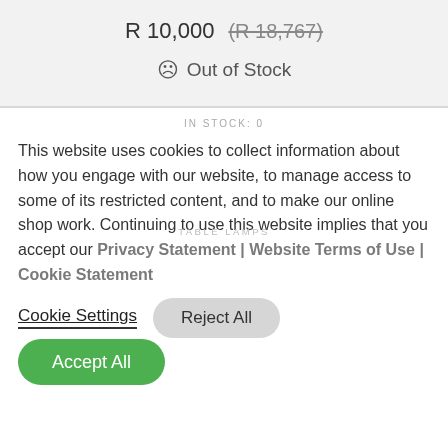R 10,000  (R 18,767)
☹ Out of Stock
IN STOCK: 0
This website uses cookies to collect information about how you engage with our website, to manage access to some of its restricted content, and to make our online shop work. Continuing to use this website implies that you accept our Privacy Statement | Website Terms of Use | Cookie Statement
Cookie Settings  Reject All
Accept All